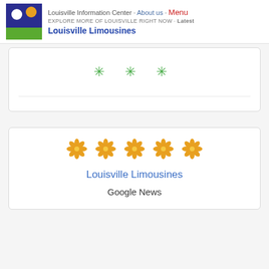Louisville Information Center · About us · Menu
EXPLORE MORE OF LOUISVILLE RIGHT NOW · Latest
Louisville Limousines
[Figure (other): Three green asterisk/star symbols centered in a card]
[Figure (other): Five golden flower/daisy icons in a row above card text]
Louisville Limousines
Google News